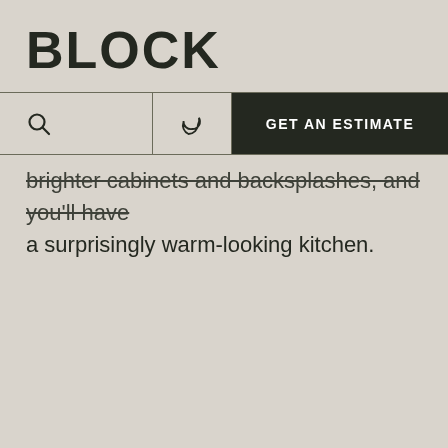BLOCK
[Figure (screenshot): Navigation bar with search icon, moon/dark-mode toggle icon, and a dark green 'GET AN ESTIMATE' call-to-action button]
brighter cabinets and backsplashes, and you'll have a surprisingly warm-looking kitchen.